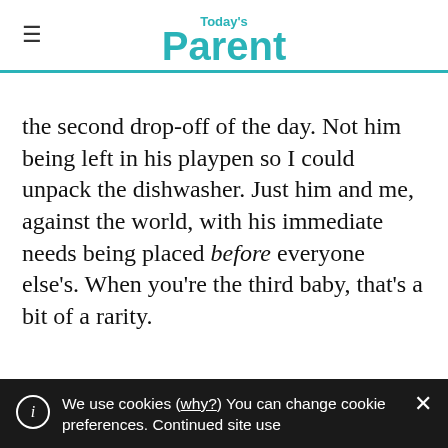Today's Parent
the second drop-off of the day. Not him being left in his playpen so I could unpack the dishwasher. Just him and me, against the world, with his immediate needs being placed before everyone else's. When you're the third baby, that's a bit of a rarity.
Even if it's your first baby, know these nights will pass quickly. Know that very, very soon, that small noisy baby will sleep 12 hours a
We use cookies (why?) You can change cookie preferences. Continued site use